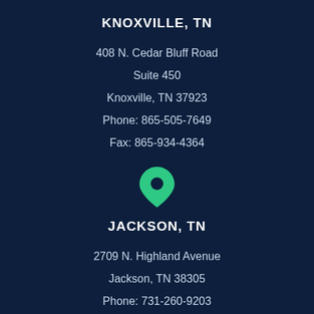KNOXVILLE, TN
408 N. Cedar Bluff Road
Suite 450
Knoxville, TN 37923
Phone: 865-505-7649
Fax: 865-934-4364
[Figure (illustration): Green map pin / location marker icon]
JACKSON, TN
2709 N. Highland Avenue
Jackson, TN 38305
Phone: 731-260-9203
Fax: 731-951-0090
CHAT WITH US NOW!